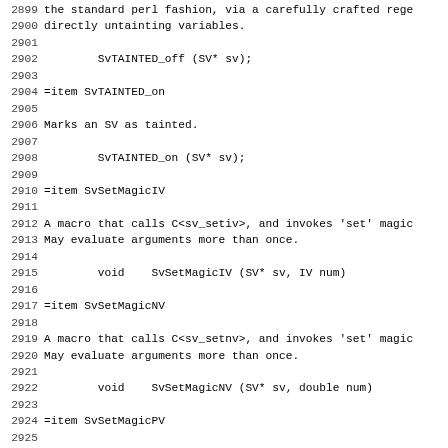2899  the standard perl fashion, via a carefully crafted rege
2900  directly untainting variables.
2901
2902       SvTAINTED_off (SV* sv);
2903
2904  =item SvTAINTED_on
2905
2906  Marks an SV as tainted.
2907
2908       SvTAINTED_on (SV* sv);
2909
2910  =item SvSetMagicIV
2911
2912  A macro that calls C<sv_setiv>, and invokes 'set' magic
2913  May evaluate arguments more than once.
2914
2915       void    SvSetMagicIV (SV* sv, IV num)
2916
2917  =item SvSetMagicNV
2918
2919  A macro that calls C<sv_setnv>, and invokes 'set' magic
2920  May evaluate arguments more than once.
2921
2922       void    SvSetMagicNV (SV* sv, double num)
2923
2924  =item SvSetMagicPV
2925
2926  A macro that calls C<sv_setpv>, and invokes 'set' magic
2927  May evaluate arguments more than once.
2928
2929       void    SvSetMagicPV (SV* sv, char *ptr)
2930